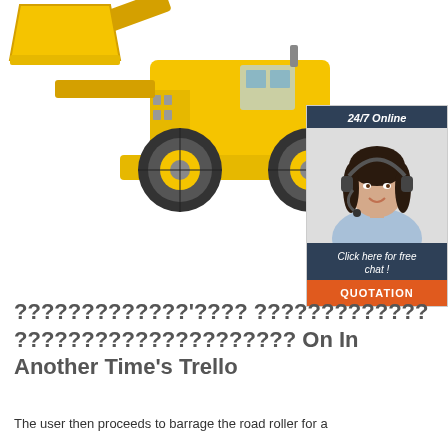[Figure (photo): Yellow wheel loader / front-end loader construction machine on white background, seen from the side-front angle]
[Figure (infographic): Chat widget showing '24/7 Online' header in dark blue, a smiling female customer service agent with headset, 'Click here for free chat!' text, and an orange 'QUOTATION' button]
?????????????'???? ????????????? ????????????????????? On In Another Time's Trello
The user then proceeds to barrage the road roller for a